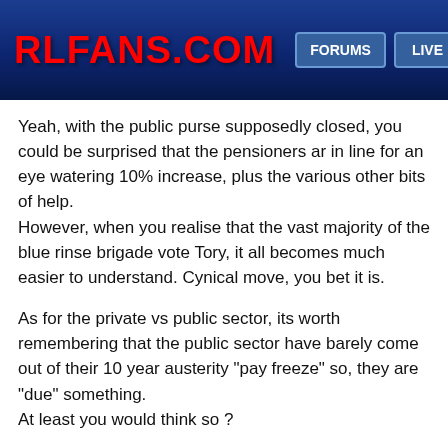RLFANS.COM — FORUMS LIVE
Yeah, with the public purse supposedly closed, you could be surprised that the pensioners ar in line for an eye watering 10% increase, plus the various other bits of help.
However, when you realise that the vast majority of the blue rinse brigade vote Tory, it all becomes much easier to understand. Cynical move, you bet it is.

As for the private vs public sector, its worth remembering that the public sector have barely come out of their 10 year austerity "pay freeze" so, they are "due" something.
At least you would think so ?
[Figure (other): Reaction buttons row: reply arrow (green), blue strip, crying emoji, laughing emoji, kiss emoji, block/no symbol]